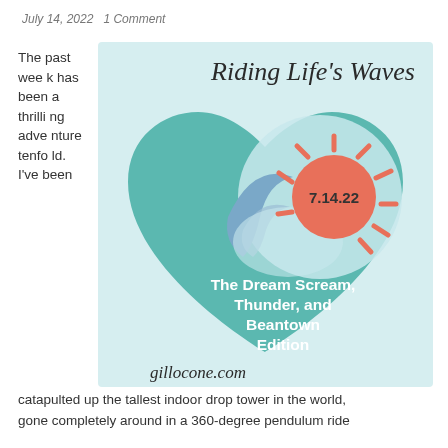July 14, 2022   1 Comment
The past week has been a thrilling adventure tenfold. I've been catapulted up the tallest indoor drop tower in the world, gone completely around in a 360-degree pendulum ride
[Figure (illustration): Blog post graphic for 'Riding Life's Waves' dated 7.14.22. A heart-shaped teal background with a wave design and a salmon/coral sun with rays. Text reads 'The Dream Scream, Thunder, and Beantown Edition'. Website: gillocone.com]